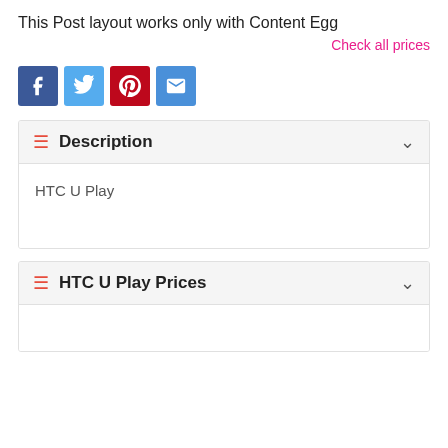This Post layout works only with Content Egg
Check all prices
[Figure (other): Social share buttons: Facebook, Twitter, Pinterest, Email]
Description
HTC U Play
HTC U Play Prices